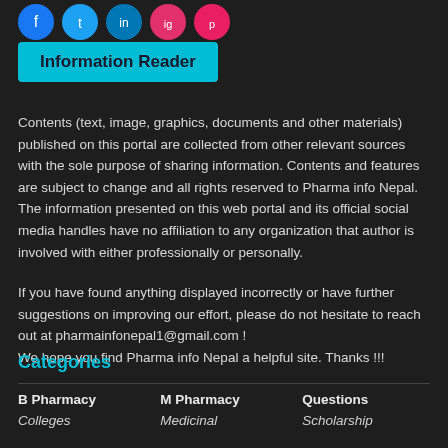[Figure (illustration): Row of social media icon circles (blue, teal, blue, red, pink) partially visible at top]
Information Reader
Contents (text, image, graphics, documents and other materials) published on this portal are collected from other relevant sources with the sole purpose of sharing information. Contents and features are subject to change and all rights reserved to Pharma info Nepal. The information presented on this web portal and its official social media handles have no affiliation to any organization that author is involved with either professionally or personally.
If you have found anything displayed incorrectly or have further suggestions on improving our effort, please do not hesitate to reach out at pharmainfonepal1@gmail.com !
We hope you find Pharma info Nepal a helpful site. Thanks !!!
Categories
B Pharmacy
Colleges
M Pharmacy
Medicinal
Questions
Scholarship